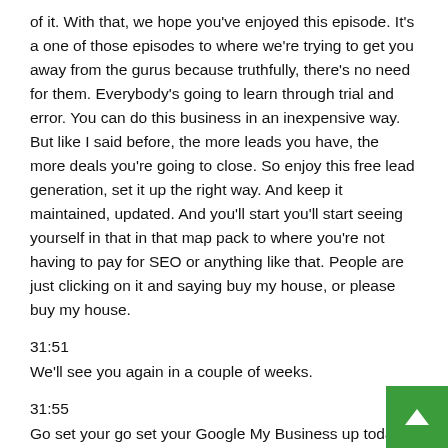of it. With that, we hope you've enjoyed this episode. It's a one of those episodes to where we're trying to get you away from the gurus because truthfully, there's no need for them. Everybody's going to learn through trial and error. You can do this business in an inexpensive way. But like I said before, the more leads you have, the more deals you're going to close. So enjoy this free lead generation, set it up the right way. And keep it maintained, updated. And you'll start you'll start seeing yourself in that in that map pack to where you're not having to pay for SEO or anything like that. People are just clicking on it and saying buy my house, or please buy my house.
31:51
We'll see you again in a couple of weeks.
31:55
Go set your go set your Google My Business up toda...